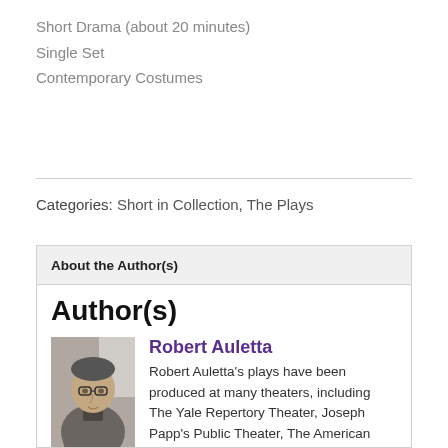Short Drama (about 20 minutes)
Single Set
Contemporary Costumes
Categories: Short in Collection, The Plays
About the Author(s)
Author(s)
[Figure (photo): Black and white photo of Robert Auletta, a middle-aged man wearing glasses and a polo shirt, seated and looking slightly downward.]
Robert Auletta
Robert Auletta's plays have been produced at many theaters, including The Yale Repertory Theater, Joseph Papp's Public Theater, The American Repertory Theater, The Production Company, PS 122, Café La Mama, and the Westbank Downstairs Theater Bar, where many of his one acts were first performed. His play